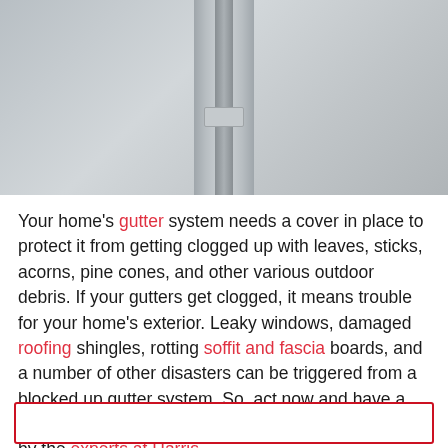[Figure (photo): Close-up photo of a gutter cover/guard installed on a roof, showing textured surface and mounting hardware, viewed from above]
Your home's gutter system needs a cover in place to protect it from getting clogged up with leaves, sticks, acorns, pine cones, and other various outdoor debris. If your gutters get clogged, it means trouble for your home's exterior. Leaky windows, damaged roofing shingles, rotting soffit and fascia boards, and a number of other disasters can be triggered from a blocked up gutter system. So, act now and have a Leaf Relief gutter protection installed at your home by the experts at Harris.